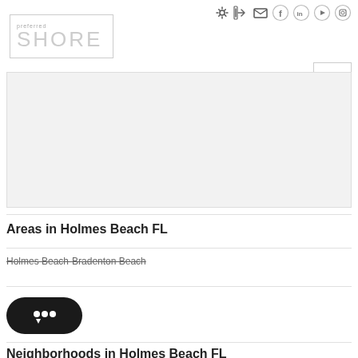[Figure (logo): Preferred Shore real estate logo with border box, small text 'preferred' above large 'SHORE' text]
[Figure (screenshot): Navigation hamburger menu button (three horizontal lines) in a bordered box]
[Figure (screenshot): Top navigation icon bar with login, email, Facebook, LinkedIn, YouTube, and Instagram icons]
[Figure (map): Embedded map area showing Holmes Beach FL area, light gray placeholder]
Areas in Holmes Beach FL
Holmes Beach-Bradenton Beach
Neighborhoods in Holmes Beach FL